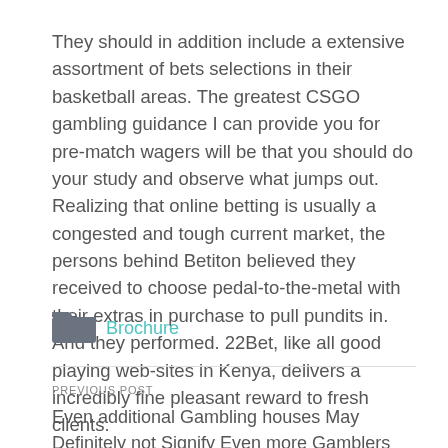They should in addition include a extensive assortment of bets selections in their basketball areas. The greatest CSGO gambling guidance I can provide you for pre-match wagers will be that you should do your study and observe what jumps out. Realizing that online betting is usually a congested and tough current market, the persons behind Betiton believed they received to choose pedal-to-the-metal with their extras in purchase to pull pundits in. And they performed. 22Bet, like all good playing web-sites in Kenya, delivers a incredibly fine pleasant reward to fresh clients.
[Figure (illustration): Folder icon]
Brochure
PREVIOUS POST
Even additional Gambling houses May Definitely not Signify Even more Gamblers